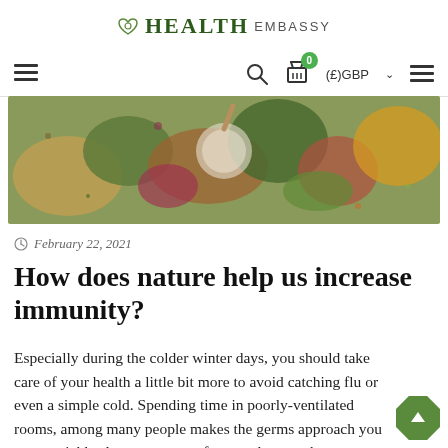HEALTH EMBASSY
[Figure (screenshot): Website navigation bar with hamburger menu, search icon, shopping cart with badge showing 0, (£)GBP currency selector, and hamburger menu on right]
[Figure (photo): Overhead view of various dried herbs and spices in bowls and scattered on a light surface]
February 22, 2021
How does nature help us increase immunity?
Especially during the colder winter days, you should take care of your health a little bit more to avoid catching flu or even a simple cold. Spending time in poorly-ventilated rooms, among many people makes the germs approach you more quickly. A runny nose, a fever and a sore throat are nothing pleasant; it is better to prevent them than struggle with curing them.